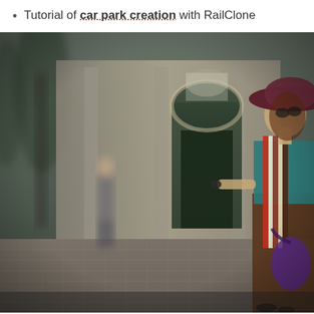Tutorial of car park creation with RailClone
[Figure (photo): Street scene photograph showing a woman in a wide-brimmed burgundy hat, colorful striped scarf, and holding a small object, standing on a cobblestone plaza in front of a historic stone building with an arched doorway. A blurred figure walks in the background on the left. The photo has a shallow depth of field with soft bokeh effect.]